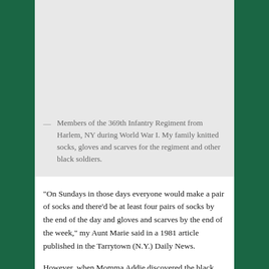[Figure (photo): Photo placeholder showing members of the 369th Infantry Regiment from Harlem, NY during World War I]
— Members of the 369th Infantry Regiment from Harlem, NY during World War I. My family knitted socks, gloves and scarves for the regiment and other black soldiers.
“On Sundays in those days everyone would make a pair of socks and there’d be at least four pairs of socks by the end of the day and gloves and scarves by the end of the week,” my Aunt Marie said in a 1981 article published in the Tarrytown (N.Y.) Daily News.
However, when Momma Addie discovered the black soldiers were not being sent these clothing items, she started a Red Cross chapter in her Tarrytown, NY home, and began knitting and sending scarves, gloves and socks to the black troops.